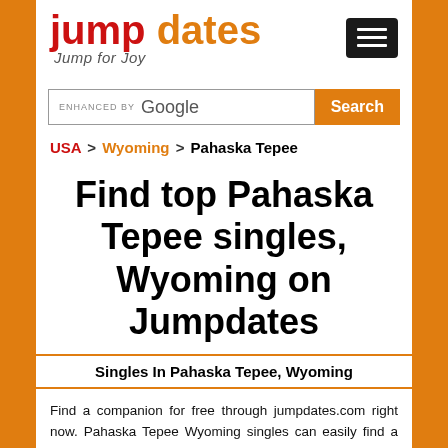[Figure (logo): Jumpdates logo with 'jump' in red and 'dates' in orange, tagline 'Jump for Joy' in italic gray, and a black hamburger menu button on the right]
[Figure (screenshot): Google custom search bar with orange Search button]
USA > Wyoming > Pahaska Tepee
Find top Pahaska Tepee singles, Wyoming on Jumpdates
Singles In Pahaska Tepee, Wyoming
Find a companion for free through jumpdates.com right now. Pahaska Tepee Wyoming singles can easily find a date, true love, friends for life or just for fun. Pahaska Tepee Wyoming is full of single men and women who are looking for a date. Register for free to find the person whose interests match yours. Pahaska Tepee Wyoming singles can browse the